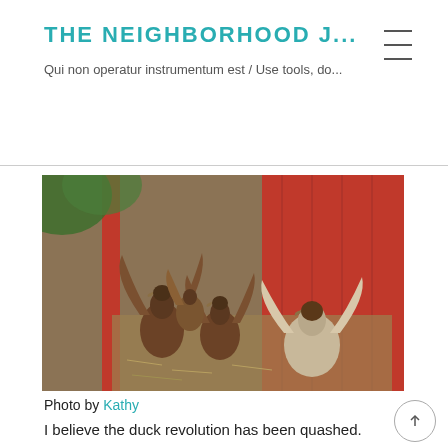THE NEIGHBORHOOD J...
Qui non operatur instrumentum est / Use tools, do...
[Figure (photo): Several ducks with wings spread in a straw-covered yard next to a red barn/coop structure]
Photo by Kathy
I believe the duck revolution has been quashed.
All day Friday, Eddy and Patsy squawked at each othe... When we let them out in the yard Friday evening, Patsy